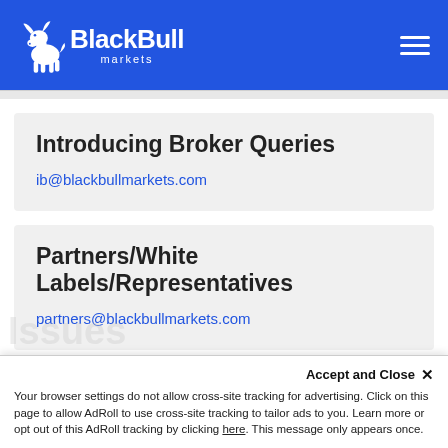[Figure (logo): BlackBull Markets logo — white bull icon with 'BlackBull' in bold white text and 'markets' underneath, on a blue background with hamburger menu icon top right]
Introducing Broker Queries
ib@blackbullmarkets.com
Partners/White Labels/Representatives
partners@blackbullmarkets.com
Accept and Close ×
Your browser settings do not allow cross-site tracking for advertising. Click on this page to allow AdRoll to use cross-site tracking to tailor ads to you. Learn more or opt out of this AdRoll tracking by clicking here. This message only appears once.